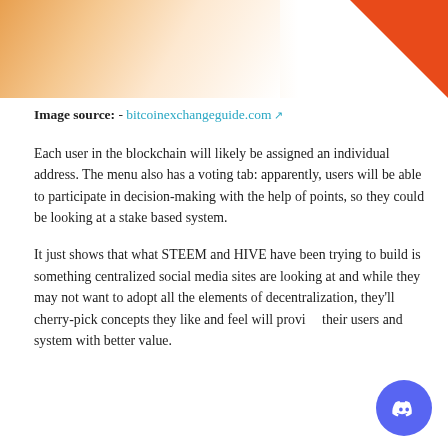[Figure (photo): Partial photo showing a warm gradient background (amber/peach tones on left, white on right) with an orange triangle decoration in the top-right corner.]
Image source: - bitcoinexchangeguide.com
Each user in the blockchain will likely be assigned an individual address. The menu also has a voting tab: apparently, users will be able to participate in decision-making with the help of points, so they could be looking at a stake based system.
It just shows that what STEEM and HIVE have been trying to build is something centralized social media sites are looking at and while they may not want to adopt all the elements of decentralization, they'll cherry-pick concepts they like and feel will provide their users and system with better value.